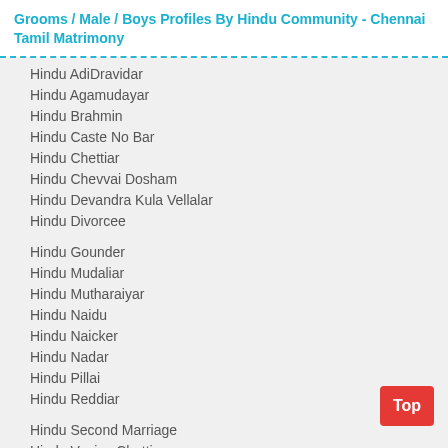Grooms / Male / Boys Profiles By Hindu Community - Chennai Tamil Matrimony
Hindu AdiDravidar
Hindu Agamudayar
Hindu Brahmin
Hindu Caste No Bar
Hindu Chettiar
Hindu Chevvai Dosham
Hindu Devandra Kula Vellalar
Hindu Divorcee
Hindu Gounder
Hindu Mudaliar
Hindu Mutharaiyar
Hindu Naidu
Hindu Naicker
Hindu Nadar
Hindu Pillai
Hindu Reddiar
Hindu Second Marriage
Hindu Vaniya Chettiar
Hindu Vanni​yar/Vanniar